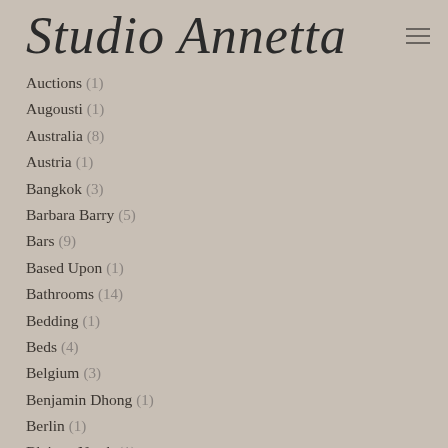Studio Annetta
Auctions (1)
Augousti (1)
Australia (8)
Austria (1)
Bangkok (3)
Barbara Barry (5)
Bars (9)
Based Upon (1)
Bathrooms (14)
Bedding (1)
Beds (4)
Belgium (3)
Benjamin Dhong (1)
Berlin (1)
Blainey North (1)